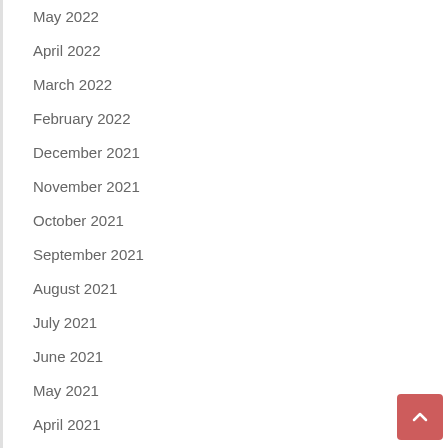May 2022
April 2022
March 2022
February 2022
December 2021
November 2021
October 2021
September 2021
August 2021
July 2021
June 2021
May 2021
April 2021
March 2021
February 2021
January 2021
December 2020
November 2020